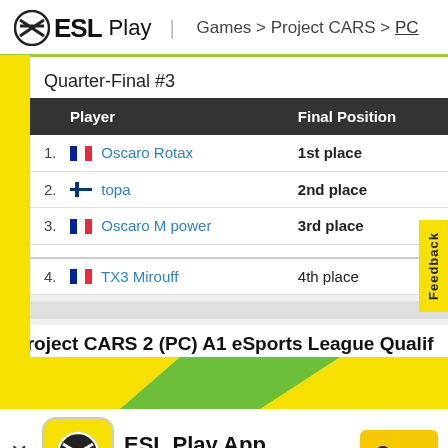ESL Play | Games > Project CARS > PC
Quarter-Final #3
| Player | Final Position |
| --- | --- |
| 1. 🇫🇷 Oscaro Rotax | 1st place |
| 2. 🇫🇮 topa | 2nd place |
| 3. 🇫🇷 Oscaro M power | 3rd place |
| 4. 🇫🇷 TX3 Mirouff | 4th place |
Project CARS 2 (PC) A1 eSports League Qualifier
[Figure (screenshot): ESL Play App banner with yellow background, ESL logo icon, app name 'ESL Play App', 'In App Store' text, and yellow 'Open' button]
2. Mr. van Ommen  2nd place